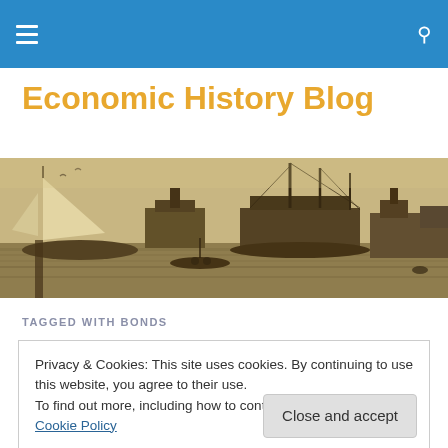Economic History Blog – site navigation header with hamburger menu and search icon
Economic History Blog
[Figure (illustration): Sepia-toned oil painting of a historical harbor scene with sailing ships, boats, and dock structures]
TAGGED WITH BONDS
Privacy & Cookies: This site uses cookies. By continuing to use this website, you agree to their use.
To find out more, including how to control cookies, see here: Cookie Policy
Close and accept